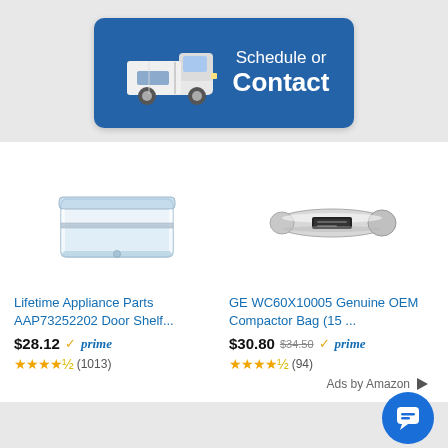[Figure (illustration): Blue banner button with a white delivery van illustration and text 'Schedule or Contact']
[Figure (photo): Clear plastic refrigerator door shelf bin, Lifetime Appliance Parts AAP73252202]
Lifetime Appliance Parts AAP73252202 Door Shelf...
$28.12 prime
★★★★½ (1013)
[Figure (photo): Silver metallic compactor bag clip, GE WC60X10005]
GE WC60X10005 Genuine OEM Compactor Bag (15 ...
$30.80 $34.50 prime
★★★★½ (94)
Ads by Amazon ▷